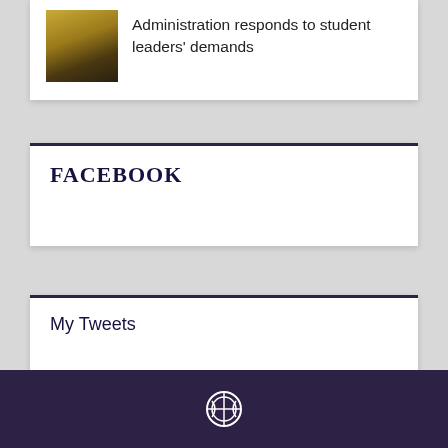Administration responds to student leaders' demands
FACEBOOK
My Tweets
[Figure (logo): WordPress logo icon in white on dark purple footer background]